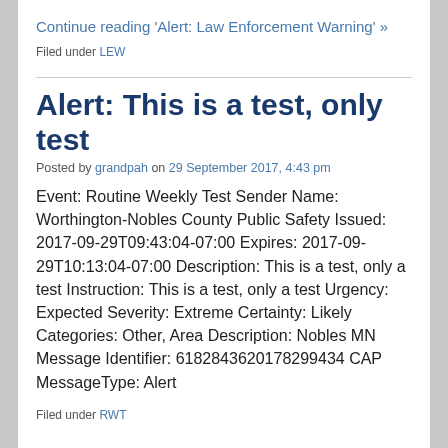Continue reading 'Alert: Law Enforcement Warning' »
Filed under LEW
Alert: This is a test, only test
Posted by grandpah on 29 September 2017, 4:43 pm
Event: Routine Weekly Test Sender Name: Worthington-Nobles County Public Safety Issued: 2017-09-29T09:43:04-07:00 Expires: 2017-09-29T10:13:04-07:00 Description: This is a test, only a test Instruction: This is a test, only a test Urgency: Expected Severity: Extreme Certainty: Likely Categories: Other, Area Description: Nobles MN Message Identifier: 618284362017 8299434 CAP MessageType: Alert
Filed under RWT